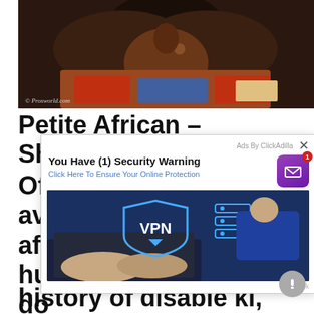[Figure (photo): Close-up adult content photo with watermark © Prosworld.com]
Petite African – Shesfreakyof
Of ... ot av... afl ... a hu... n do... cli... p his... cli... n his... history of disable ki, and the
[Figure (screenshot): Ad overlay from ClickAdilla: 'You Have (1) Security Warning - Click Here To Ensure Your Online Protection' with VPN image showing a person typing on a laptop with VPN shield graphic]